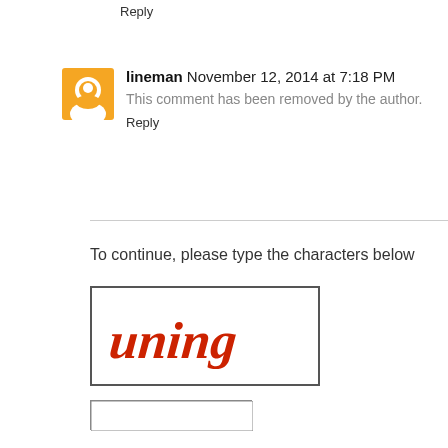Reply
lineman November 12, 2014 at 7:18 PM
This comment has been removed by the author.
Reply
To continue, please type the characters below
[Figure (other): CAPTCHA image showing stylized red cursive text reading 'uning' in a bordered box]
[Figure (other): Empty text input field for CAPTCHA entry]